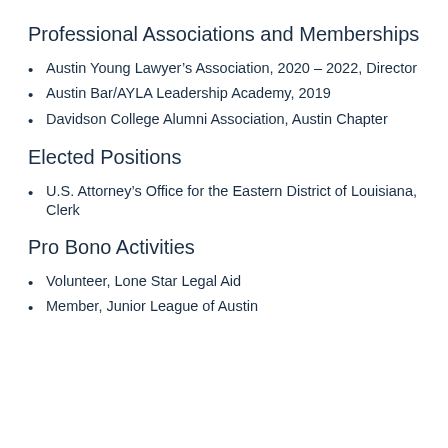Professional Associations and Memberships
Austin Young Lawyer’s Association, 2020 – 2022, Director
Austin Bar/AYLA Leadership Academy, 2019
Davidson College Alumni Association, Austin Chapter
Elected Positions
U.S. Attorney’s Office for the Eastern District of Louisiana, Clerk
Pro Bono Activities
Volunteer, Lone Star Legal Aid
Member, Junior League of Austin